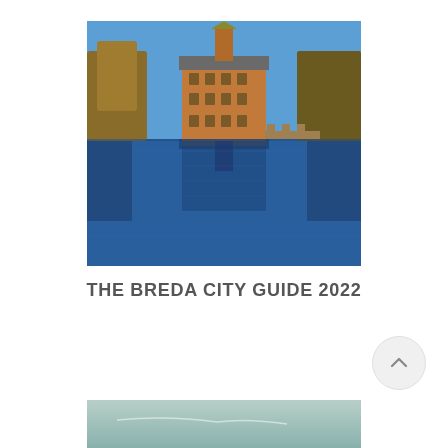[Figure (photo): A historic brick building with a clock tower reflected in a calm lake, surrounded by bare winter trees under a clear blue sky. The reflection of the building is clearly visible in the still water below.]
THE BREDA CITY GUIDE 2022
[Figure (photo): A partially visible outdoor scene with a muted teal/grey sky and landscape, cropped at the bottom of the page.]